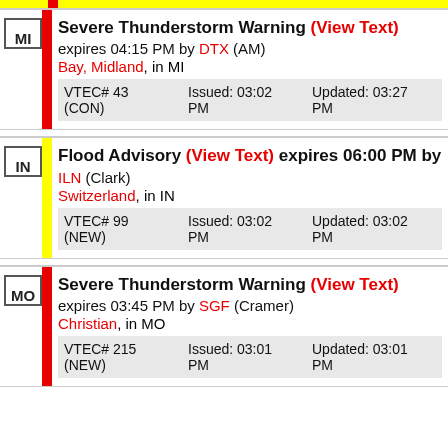MI | Severe Thunderstorm Warning (View Text) expires 04:15 PM by DTX (AM) Bay, Midland, in MI | VTEC# 43 (CON) | Issued: 03:02 PM | Updated: 03:27 PM
IN | Flood Advisory (View Text) expires 06:00 PM by ILN (Clark) Switzerland, in IN | VTEC# 99 (NEW) | Issued: 03:02 PM | Updated: 03:02 PM
MO | Severe Thunderstorm Warning (View Text) expires 03:45 PM by SGF (Cramer) Christian, in MO | VTEC# 215 (NEW) | Issued: 03:01 PM | Updated: 03:01 PM